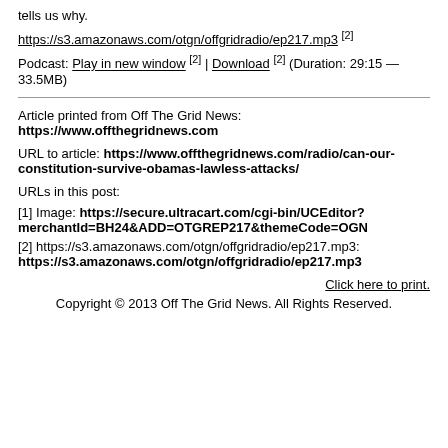tells us why.
https://s3.amazonaws.com/otgn/offgridradio/ep217.mp3 [2]
Podcast: Play in new window [2] | Download [2] (Duration: 29:15 — 33.5MB)
Article printed from Off The Grid News:
https://www.offthegridnews.com
URL to article: https://www.offthegridnews.com/radio/can-our-constitution-survive-obamas-lawless-attacks/
URLs in this post:
[1] Image: https://secure.ultracart.com/cgi-bin/UCEditor?merchantId=BH24&ADD=OTGREP217&themeCode=OGN
[2] https://s3.amazonaws.com/otgn/offgridradio/ep217.mp3: https://s3.amazonaws.com/otgn/offgridradio/ep217.mp3
Click here to print.
Copyright © 2013 Off The Grid News. All Rights Reserved.